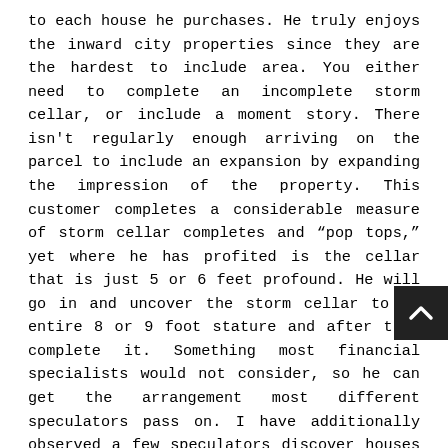to each house he purchases. He truly enjoys the inward city properties since they are the hardest to include area. You either need to complete an incomplete storm cellar, or include a moment story. There isn't regularly enough arriving on the parcel to include an expansion by expanding the impression of the property. This customer completes a considerable measure of storm cellar completes and "pop tops," yet where he has profited is the cellar that is just 5 or 6 feet profound. He will go in and uncover the storm cellar to an entire 8 or 9 foot stature and after that complete it. Something most financial specialists would not consider, so he can get the arrangement most different speculators pass on. I have additionally observed a few speculators discover houses that don't generally fit into an area and they influence them to fit. This could be restricted rooms or washrooms or offbeat or designs. The greater part of that can be changed. Clearly numerous corrective fixes like kitchens and restrooms include a great deal of significant worth as well. There is significantly more to it than this, however the thought is to purchase a
[Figure (other): A dark square button with a white upward-pointing chevron/arrow icon, used as a back-to-top navigation button.]